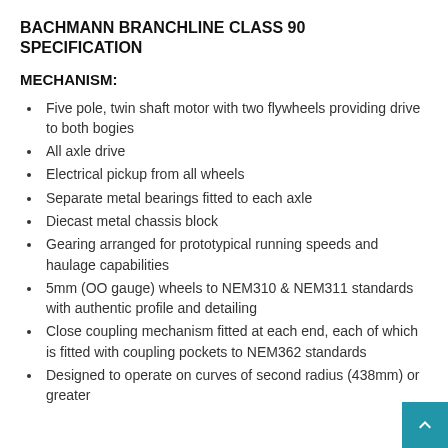BACHMANN BRANCHLINE CLASS 90 SPECIFICATION
MECHANISM:
Five pole, twin shaft motor with two flywheels providing drive to both bogies
All axle drive
Electrical pickup from all wheels
Separate metal bearings fitted to each axle
Diecast metal chassis block
Gearing arranged for prototypical running speeds and haulage capabilities
5mm (OO gauge) wheels to NEM310 & NEM311 standards with authentic profile and detailing
Close coupling mechanism fitted at each end, each of which is fitted with coupling pockets to NEM362 standards
Designed to operate on curves of second radius (438mm) or greater